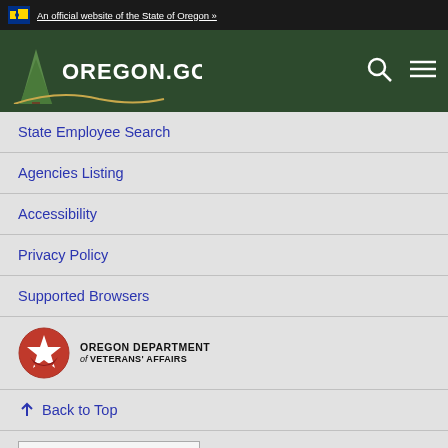An official website of the State of Oregon »
[Figure (logo): Oregon.gov logo with pine tree on dark green background, with search and menu icons]
State Employee Search
Agencies Listing
Accessibility
Privacy Policy
Supported Browsers
[Figure (logo): Oregon Department of Veterans' Affairs logo - red circle with star and chevron emblem, text to the right]
↑ Back to Top
Select Language (dropdown) — Powered by Google Translate